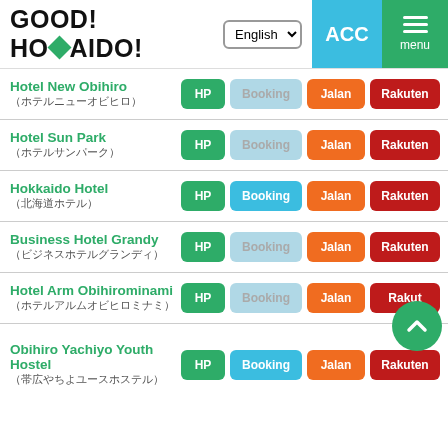[Figure (screenshot): GOOD! HOKKAIDO! website logo with green diamond shape]
English (language selector)
ACC
menu
Hotel New Obihiro (ホテルニューオビヒロ) — HP, Booking (dim), Jalan, Rakuten
Hotel Sun Park (ホテルサンパーク) — HP, Booking (dim), Jalan, Rakuten
Hokkaido Hotel (北海道ホテル) — HP, Booking, Jalan, Rakuten
Business Hotel Grandy (ビジネスホテルグランディ) — HP, Booking (dim), Jalan, Rakuten
Hotel Arm Obihirominami (ホテルアルムオビヒロミナミ) — HP, Booking (dim), Jalan, Rakuten
Obihiro Yachiyo Youth Hostel (帯広やちよユースホステル) — HP, Booking, Jalan, Rakuten